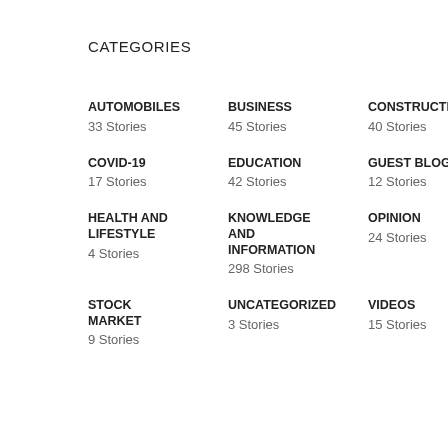CATEGORIES
AUTOMOBILES
33 Stories
BUSINESS
45 Stories
CONSTRUCTION
40 Stories
COVID-19
17 Stories
EDUCATION
42 Stories
GUEST BLOG
12 Stories
HEALTH AND LIFESTYLE
4 Stories
KNOWLEDGE AND INFORMATION
298 Stories
OPINION
24 Stories
STOCK MARKET
9 Stories
UNCATEGORIZED
3 Stories
VIDEOS
15 Stories